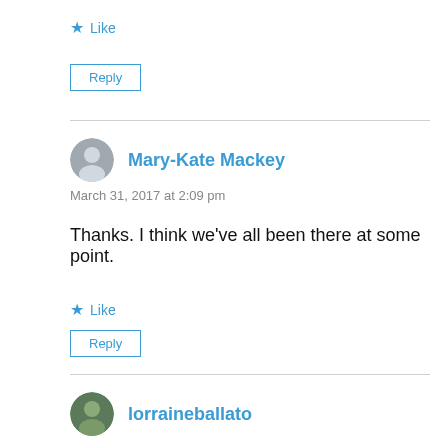★ Like
Reply
Mary-Kate Mackey
March 31, 2017 at 2:09 pm
Thanks. I think we've all been there at some point.
★ Like
Reply
lorraineballato